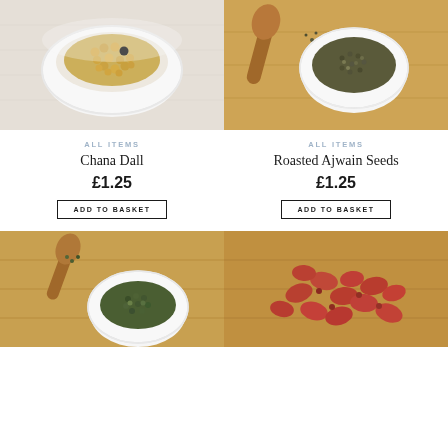[Figure (photo): A white bowl filled with yellow chana dall lentils on a light linen background]
[Figure (photo): A wooden spoon and a small white bowl filled with roasted ajwain seeds on a bamboo wooden surface]
ALL ITEMS
Chana Dall
£1.25
ADD TO BASKET
ALL ITEMS
Roasted Ajwain Seeds
£1.25
ADD TO BASKET
[Figure (photo): A wooden spoon and a small white bowl filled with green mung beans on a bamboo surface]
[Figure (photo): A pile of roasted red peanuts scattered on a bamboo wooden surface]